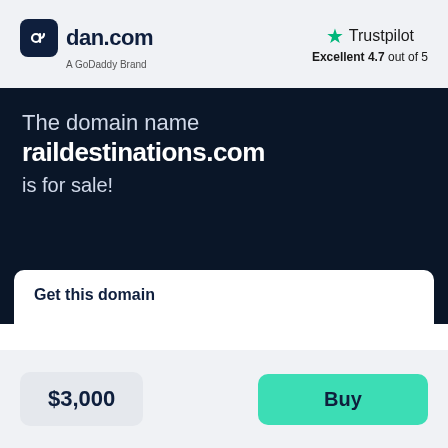[Figure (logo): dan.com logo with dark rounded square icon and text 'dan.com', subtitle 'A GoDaddy Brand']
[Figure (logo): Trustpilot logo with green star and text 'Trustpilot', rating 'Excellent 4.7 out of 5']
The domain name raildestinations.com is for sale!
Get this domain
$3,000
Buy